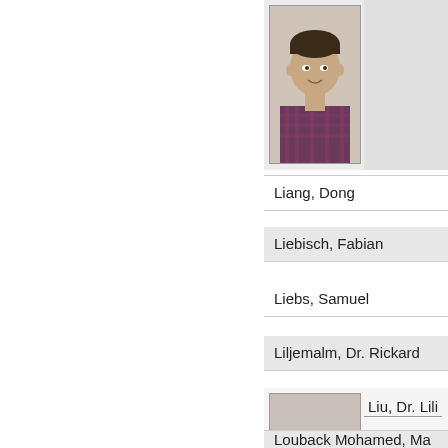[Figure (photo): Headshot photo of a young man in a plaid shirt, partially visible at top]
Liang, Dong
Liebisch, Fabian
Liebs, Samuel
Liljemalm, Dr. Rickard
[Figure (photo): Headshot photo of a woman with dark hair]
Liu, Dr. Lili
Louback Mohamed, Ma...